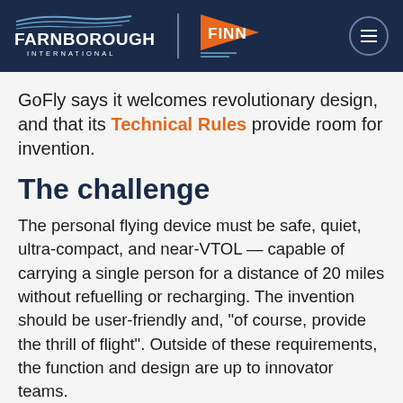FARNBOROUGH INTERNATIONAL | FINN
GoFly says it welcomes revolutionary design, and that its Technical Rules provide room for invention.
The challenge
The personal flying device must be safe, quiet, ultra-compact, and near-VTOL — capable of carrying a single person for a distance of 20 miles without refuelling or recharging. The invention should be user-friendly and, “of course, provide the thrill of flight”. Outside of these requirements, the function and design are up to innovator teams.
Over the next two years, individuals and teams from around the globe will compete for $2 million